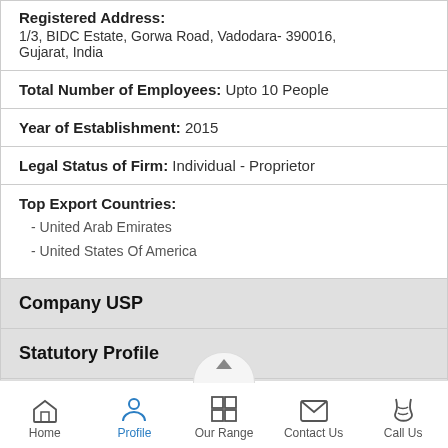Registered Address: 1/3, BIDC Estate, Gorwa Road, Vadodara- 390016, Gujarat, India
Total Number of Employees: Upto 10 People
Year of Establishment: 2015
Legal Status of Firm: Individual - Proprietor
Top Export Countries: - United Arab Emirates - United States Of America
Company USP
Statutory Profile
Packaging/Payment and Shipment Details
Home | Profile | Our Range | Contact Us | Call Us